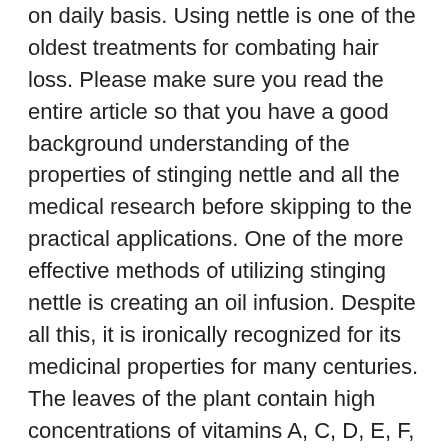on daily basis. Using nettle is one of the oldest treatments for combating hair loss. Please make sure you read the entire article so that you have a good background understanding of the properties of stinging nettle and all the medical research before skipping to the practical applications. One of the more effective methods of utilizing stinging nettle is creating an oil infusion. Despite all this, it is ironically recognized for its medicinal properties for many centuries. The leaves of the plant contain high concentrations of vitamins A, C, D, E, F, K and P, as well as of vitamin B-complexes (1). Dihydrotestosterone, or DHT, is a sex steroid and androgen hormone that is created as a testosterone byproduct. This produces widespread damage that will eventually induce an inflammatory response, which we know plays a large role in chronic hair loss. 4- Treats dandruff Caused by eating wrong type of